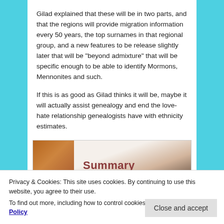Gilad explained that these will be in two parts, and that the regions will provide migration information every 50 years, the top surnames in that regional group, and a new features to be release slightly later that will be "beyond admixture" that will be specific enough to be able to identify Mormons, Mennonites and such.
If this is as good as Gilad thinks it will be, maybe it will actually assist genealogy and end the love-hate relationship genealogists have with ethnicity estimates.
[Figure (photo): Partial view of a book or document page showing the word 'Summary' in red-brown text on a light background, with a dark diagonal element and an orange-brown textured cover visible on the left.]
Privacy & Cookies: This site uses cookies. By continuing to use this website, you agree to their use.
To find out more, including how to control cookies, see here: Cookie Policy